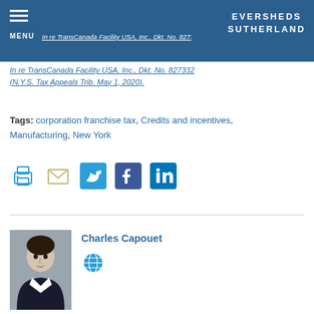EVERSHEDS SUTHERLAND
capital base.
In re TransCanada Facility USA, Inc., Dkt. No. 827332 (N.Y.S. Tax Appeals Trib. May 1, 2020).
Tags: corporation franchise tax, Credits and incentives, Manufacturing, New York
[Figure (infographic): Social sharing icons: print, email, Twitter, Facebook, LinkedIn]
[Figure (photo): Headshot photo of Charles Capouet]
Charles Capouet
[Figure (other): Globe/web icon]